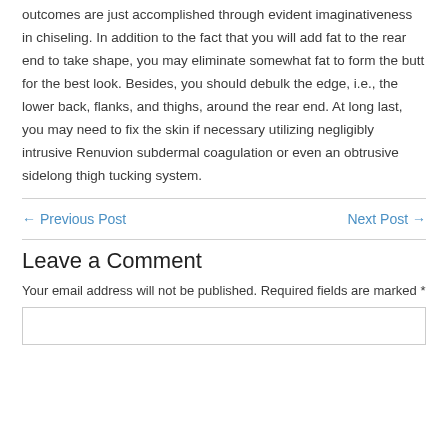outcomes are just accomplished through evident imaginativeness in chiseling. In addition to the fact that you will add fat to the rear end to take shape, you may eliminate somewhat fat to form the butt for the best look. Besides, you should debulk the edge, i.e., the lower back, flanks, and thighs, around the rear end. At long last, you may need to fix the skin if necessary utilizing negligibly intrusive Renuvion subdermal coagulation or even an obtrusive sidelong thigh tucking system.
← Previous Post
Next Post →
Leave a Comment
Your email address will not be published. Required fields are marked *